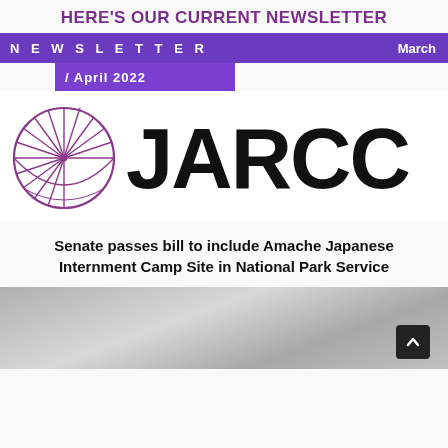HERE'S OUR CURRENT NEWSLETTER
NEWSLETTER  March / April 2022
[Figure (logo): JARCC logo: circular emblem with radiating lines and purple accent, next to large bold text 'JARCC']
Senate passes bill to include Amache Japanese Internment Camp Site in National Park Service
[Figure (photo): Black and white photograph, partially visible at bottom of page, appears to show an outdoor historical scene]